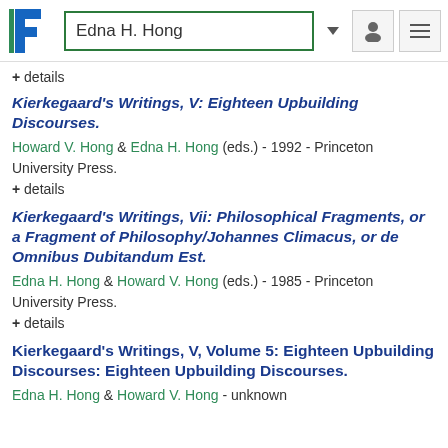Edna H. Hong
+ details
Kierkegaard's Writings, V: Eighteen Upbuilding Discourses.
Howard V. Hong & Edna H. Hong (eds.) - 1992 - Princeton University Press.
+ details
Kierkegaard's Writings, Vii: Philosophical Fragments, or a Fragment of Philosophy/Johannes Climacus, or de Omnibus Dubitandum Est.
Edna H. Hong & Howard V. Hong (eds.) - 1985 - Princeton University Press.
+ details
Kierkegaard's Writings, V, Volume 5: Eighteen Upbuilding Discourses: Eighteen Upbuilding Discourses.
Edna H. Hong & Howard V. Hong - unknown